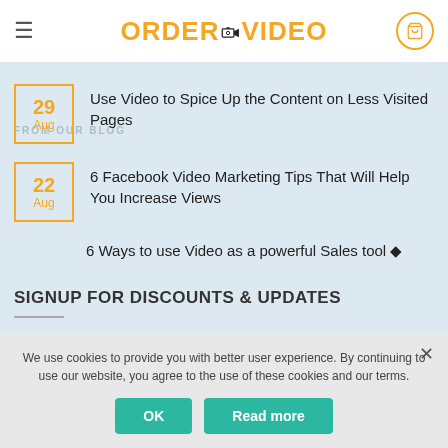ORDER YOUR VIDEO
FROM OUR BLOG
29 Aug — Use Video to Spice Up the Content on Less Visited Pages
22 Aug — 6 Facebook Video Marketing Tips That Will Help You Increase Views
6 Ways to use Video as a powerful Sales tool
SIGNUP FOR DISCOUNTS & UPDATES
We use cookies to provide you with better user experience. By continuing to use our website, you agree to the use of these cookies and our terms.